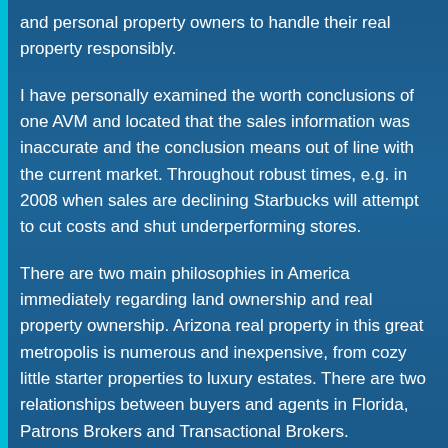and personal property owners to handle their real property responsibly.
I have personally examined the worth conclusions of one AVM and located that the sales information was inaccurate and the conclusion means out of line with the current market. Throughout robust times, e.g. in 2008 when sales are declining Starbucks will attempt to cut costs and shut underperforming stores.
There are two main philosophies in America immediately regarding land ownership and real property ownership. Arizona real property in this great metropolis is numerous and inexpensive, from cozy little starter properties to luxury estates. There are two relationships between buyers and agents in Florida, Patrons Brokers and Transactional Brokers.
Actual Estate Appraisal Below Hearth